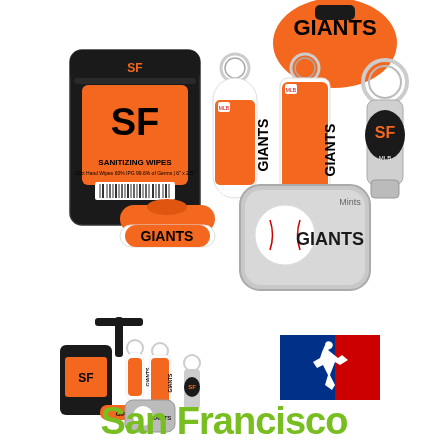[Figure (photo): San Francisco Giants branded merchandise set including sanitizing wipes, hand sanitizer, sunscreen, lip balm, mints tin, and multi-tool keychain, all in orange and black Giants colors]
[Figure (photo): Small thumbnail image showing the complete Giants 6-piece set arranged together]
[Figure (logo): MLB official logo in red and blue silhouette of a batter]
San Francisco